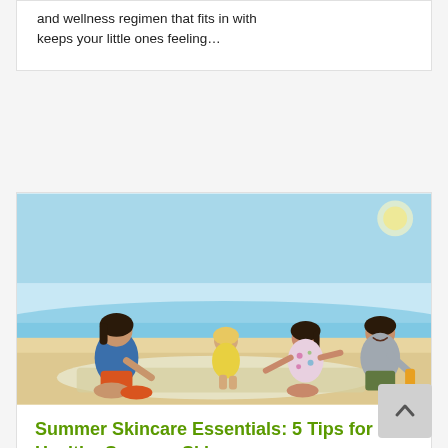and wellness regimen that fits in with keeps your little ones feeling…
[Figure (photo): A family sitting on a beach blanket applying sunscreen to each other. An adult woman in a blue top and orange shorts applies lotion to a child, while another child in yellow and a man in a grey shirt smile and interact. Sunny beach background.]
Summer Skincare Essentials: 5 Tips for Healthy Summer Skin
July 14, 2022